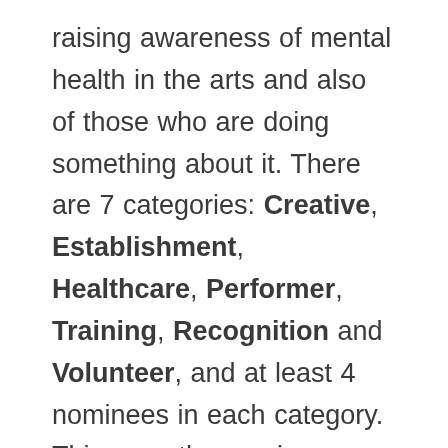raising awareness of mental health in the arts and also of those who are doing something about it. There are 7 categories: Creative, Establishment, Healthcare, Performer, Training, Recognition and Volunteer, and at least 4 nominees in each category. This year, the nominees were chosen by the Industry Minds Committee and the winners in each category are chosen in a silent ballot by a selection of judges. We hope that by recognising all the nominees, people will become aware of